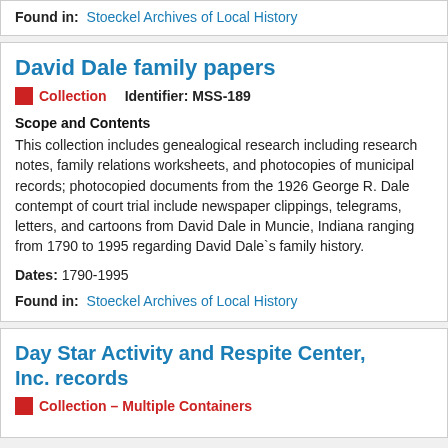Found in: Stoeckel Archives of Local History
David Dale family papers
Collection   Identifier: MSS-189
Scope and Contents
This collection includes genealogical research including research notes, family relations worksheets, and photocopies of municipal records; photocopied documents from the 1926 George R. Dale contempt of court trial include newspaper clippings, telegrams, letters, and cartoons from David Dale in Muncie, Indiana ranging from 1790 to 1995 regarding David Dale`s family history.
Dates: 1790-1995
Found in: Stoeckel Archives of Local History
Day Star Activity and Respite Center, Inc. records
Collection – Multiple Containers